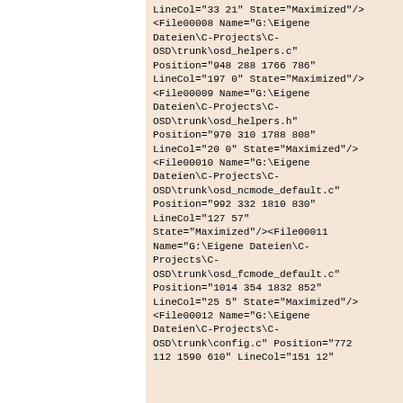LineCol="33 21" State="Maximized"/>
<File00008 Name="G:\Eigene Dateien\C-Projects\C-OSD\trunk\osd_helpers.c" Position="948 288 1766 786" LineCol="197 0" State="Maximized"/>
<File00009 Name="G:\Eigene Dateien\C-Projects\C-OSD\trunk\osd_helpers.h" Position="970 310 1788 808" LineCol="20 0" State="Maximized"/>
<File00010 Name="G:\Eigene Dateien\C-Projects\C-OSD\trunk\osd_ncmode_default.c" Position="992 332 1810 830" LineCol="127 57" State="Maximized"/><File00011 Name="G:\Eigene Dateien\C-Projects\C-OSD\trunk\osd_fcmode_default.c" Position="1014 354 1832 852" LineCol="25 5" State="Maximized"/>
<File00012 Name="G:\Eigene Dateien\C-Projects\C-OSD\trunk\config.c" Position="772 112 1590 610" LineCol="151 12"